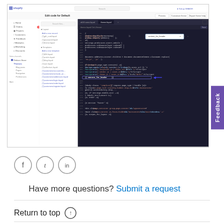[Figure (screenshot): Shopify admin code editor screenshot showing theme file editing with code highlighted and a search bar open]
Feedback
[Figure (other): Social media icons: Facebook, Twitter, LinkedIn]
Have more questions? Submit a request
Return to top ↑
Related articles